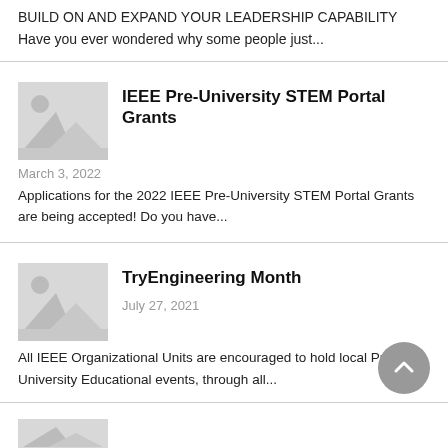BUILD ON AND EXPAND YOUR LEADERSHIP CAPABILITY Have you ever wondered why some people just...
IEEE Pre-University STEM Portal Grants
March 3, 2022
Applications for the 2022 IEEE Pre-University STEM Portal Grants are being accepted! Do you have...
TryEngineering Month
July 27, 2021
All IEEE Organizational Units are encouraged to hold local Pre-University Educational events, through all...